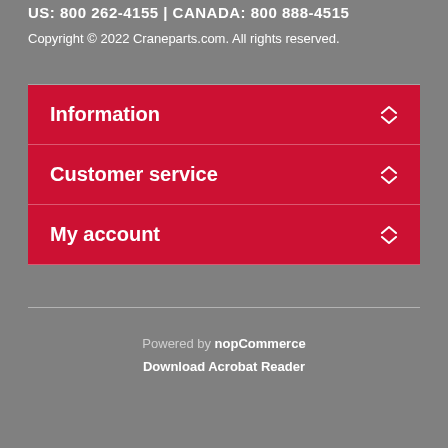US: 800 262-4155 | CANADA: 800 888-4515
Copyright © 2022 Craneparts.com. All rights reserved.
Information
Customer service
My account
Powered by nopCommerce
Download Acrobat Reader